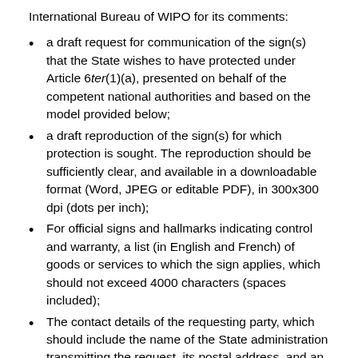International Bureau of WIPO for its comments:
a draft request for communication of the sign(s) that the State wishes to have protected under Article 6ter(1)(a), presented on behalf of the competent national authorities and based on the model provided below;
a draft reproduction of the sign(s) for which protection is sought. The reproduction should be sufficiently clear, and available in a downloadable format (Word, JPEG or editable PDF), in 300x300 dpi (dots per inch);
For official signs and hallmarks indicating control and warranty, a list (in English and French) of goods or services to which the sign applies, which should not exceed 4000 characters (spaces included);
The contact details of the requesting party, which should include the name of the State administration transmitting the request, its postal address, and an email address (a generic email address).
The following can serve as models for the draft request and draft reproduction: